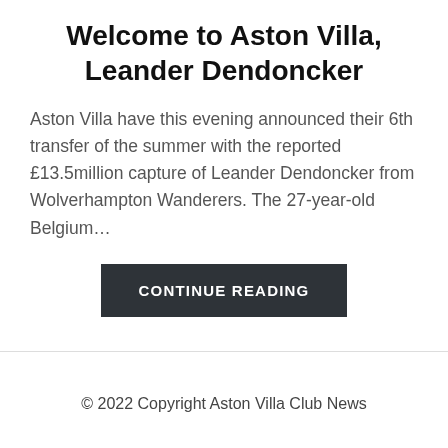Welcome to Aston Villa, Leander Dendoncker
Aston Villa have this evening announced their 6th transfer of the summer with the reported £13.5million capture of Leander Dendoncker from Wolverhampton Wanderers. The 27-year-old Belgium…
CONTINUE READING
© 2022 Copyright Aston Villa Club News